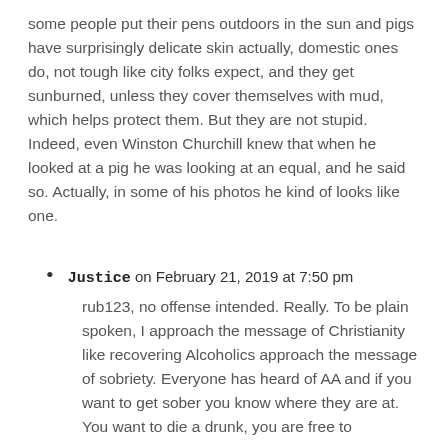some people put their pens outdoors in the sun and pigs have surprisingly delicate skin actually, domestic ones do, not tough like city folks expect, and they get sunburned, unless they cover themselves with mud, which helps protect them. But they are not stupid. Indeed, even Winston Churchill knew that when he looked at a pig he was looking at an equal, and he said so. Actually, in some of his photos he kind of looks like one.
Justice on February 21, 2019 at 7:50 pm — rub123, no offense intended. Really. To be plain spoken, I approach the message of Christianity like recovering Alcoholics approach the message of sobriety. Everyone has heard of AA and if you want to get sober you know where they are at. You want to die a drunk, you are free to